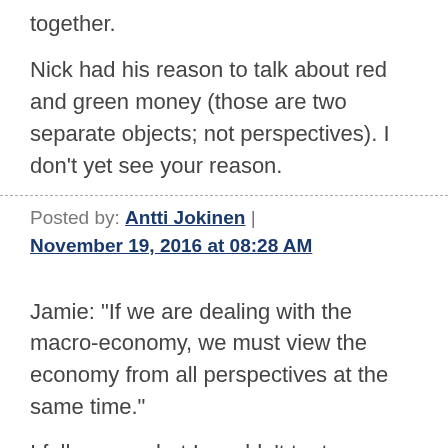together.
Nick had his reason to talk about red and green money (those are two separate objects; not perspectives). I don't yet see your reason.
Posted by: Antti Jokinen | November 19, 2016 at 08:28 AM
Jamie: "If we are dealing with the macro-economy, we must view the economy from all perspectives at the same time."
I fully agree, but I wouldn't try to achieve this by splitting one